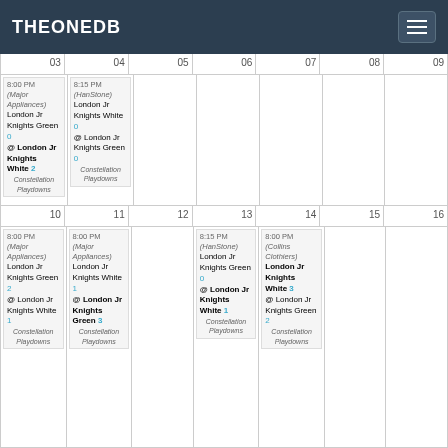THEONEDB
| 03 | 04 | 05 | 06 | 07 | 08 | 09 |
| --- | --- | --- | --- | --- | --- | --- |
| 8:00 PM (Major Appliances) London Jr Knights Green 0 @ London Jr Knights White 2 Constellation Playdowns | 8:15 PM (HanStone) London Jr Knights White 0 @ London Jr Knights Green 0 Constellation Playdowns |  |  |  |  |  |
| 10 | 11 | 12 | 13 | 14 | 15 | 16 |
| 8:00 PM (Major Appliances) London Jr Knights Green 2 @ London Jr Knights White 1 Constellation Playdowns | 8:00 PM (Major Appliances) London Jr Knights White 1 @ London Jr Knights Green 3 Constellation Playdowns |  | 8:15 PM (HanStone) London Jr Knights Green 0 @ London Jr Knights White 1 Constellation Playdowns | 8:00 PM (Collins Clothiers) London Jr Knights White 3 @ London Jr Knights Green 2 Constellation Playdowns |  |  |